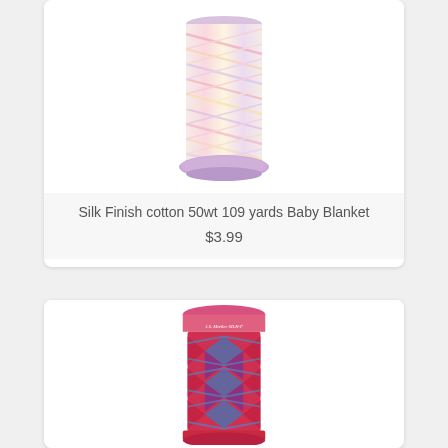[Figure (photo): Spool of Mettler Silk Finish cotton thread in multicolor pastel (Baby Blanket) — cream/pink/yellow/lavender variegated thread wound on a lavender bobbin]
Silk Finish cotton 50wt 109 yards Baby Blanket
$3.99
[Figure (photo): Spool of Mettler Silk Finish thread in multicolor red/blue/purple variegated pattern wound on a red/pink bobbin, with Mettler brand label visible at top]